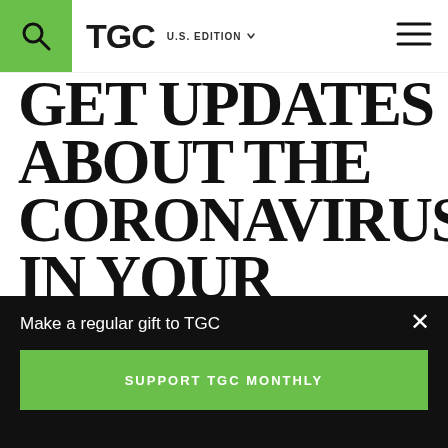TGC U.S. EDITION
GET UPDATES ABOUT THE CORONAVIRUS IN YOUR INBOX
EMAIL ADDRESS
SIGN UP
Make a regular gift to TGC
SUPPORT TGC MONTHLY